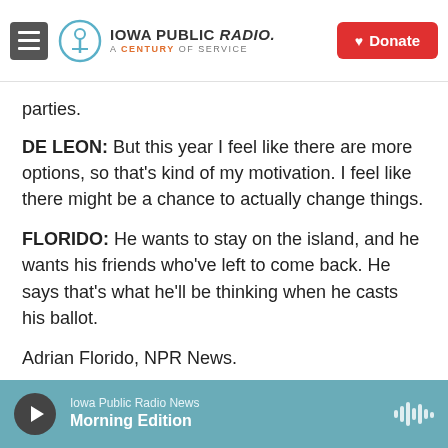Iowa Public Radio. A Century of Service. Donate.
parties.
DE LEON: But this year I feel like there are more options, so that's kind of my motivation. I feel like there might be a chance to actually change things.
FLORIDO: He wants to stay on the island, and he wants his friends who've left to come back. He says that's what he'll be thinking when he casts his ballot.
Adrian Florido, NPR News.
(SOUNDBITE OF DO MAKE SAY THINK'S "AS FAR
Iowa Public Radio News — Morning Edition